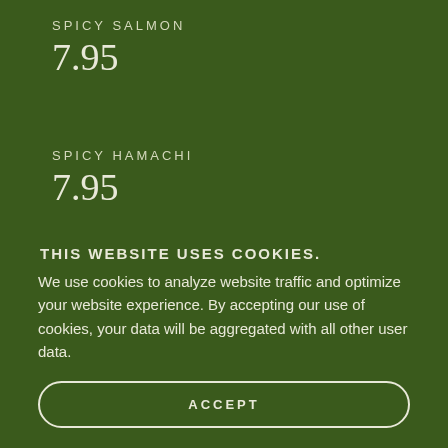SPICY SALMON
7.95
SPICY HAMACHI
7.95
GARLIC ALBACORE
THIS WEBSITE USES COOKIES.
We use cookies to analyze website traffic and optimize your website experience. By accepting our use of cookies, your data will be aggregated with all other user data.
ACCEPT